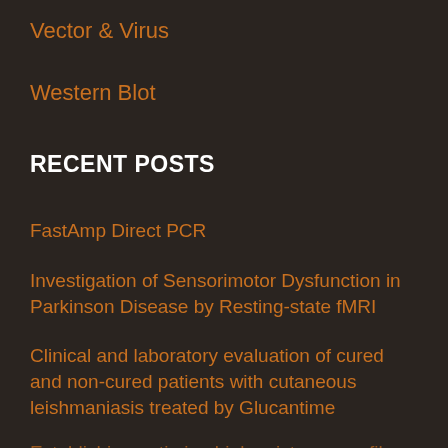Vector & Virus
Western Blot
RECENT POSTS
FastAmp Direct PCR
Investigation of Sensorimotor Dysfunction in Parkinson Disease by Resting-state fMRI
Clinical and laboratory evaluation of cured and non-cured patients with cutaneous leishmaniasis treated by Glucantime
Establishing antimicrobial resistance profiles of…